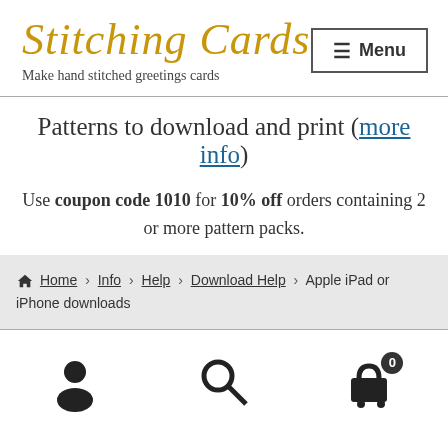Stitching Cards — Make hand stitched greetings cards
Patterns to download and print (more info)
Use coupon code 1010 for 10% off orders containing 2 or more pattern packs.
Home › Info › Help › Download Help › Apple iPad or iPhone downloads
[Figure (infographic): Bottom toolbar with user account icon, search icon, and shopping cart icon with badge showing 0]